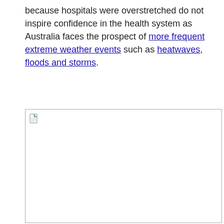because hospitals were overstretched do not inspire confidence in the health system as Australia faces the prospect of more frequent extreme weather events such as heatwaves, floods and storms.
[Figure (photo): Broken/missing image placeholder with a small broken image icon in the top-left corner, bordered rectangle]